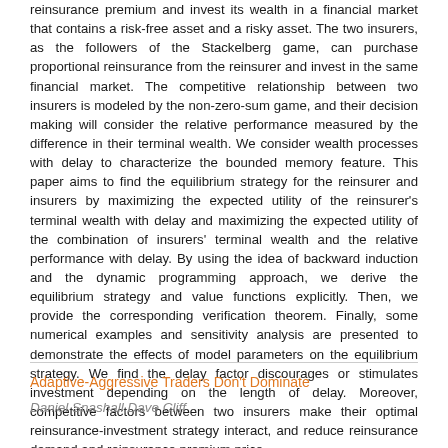reinsurance premium and invest its wealth in a financial market that contains a risk-free asset and a risky asset. The two insurers, as the followers of the Stackelberg game, can purchase proportional reinsurance from the reinsurer and invest in the same financial market. The competitive relationship between two insurers is modeled by the non-zero-sum game, and their decision making will consider the relative performance measured by the difference in their terminal wealth. We consider wealth processes with delay to characterize the bounded memory feature. This paper aims to find the equilibrium strategy for the reinsurer and insurers by maximizing the expected utility of the reinsurer's terminal wealth with delay and maximizing the expected utility of the combination of insurers' terminal wealth and the relative performance with delay. By using the idea of backward induction and the dynamic programming approach, we derive the equilibrium strategy and value functions explicitly. Then, we provide the corresponding verification theorem. Finally, some numerical examples and sensitivity analysis are presented to demonstrate the effects of model parameters on the equilibrium strategy. We find the delay factor discourages or stimulates investment depending on the length of delay. Moreover, competitive factors between two insurers make their optimal reinsurance-investment strategy interact, and reduce reinsurance demand and reinsurance premium price.
Adaptive-Aggressive Traders Don't Dominate
Daniel Snashall,Dave Cliff